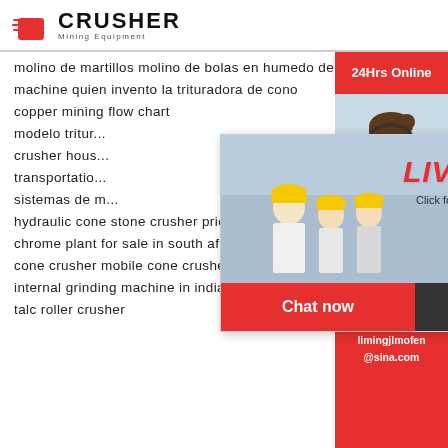[Figure (logo): Crusher Mining Equipment logo with red shopping bag icon and bold CRUSHER text]
molino de martillos molino de bolas en humedo de soja
machine quien invento la trituradora de cono
copper mining flow chart
modelo tritur...
crusher hous...
transportatio...
sistemas de m...
[Figure (screenshot): Live Chat popup overlay with workers in hard hats background, LIVE CHAT heading in red italic, Click for a Free Consultation text, Chat now (red) and Chat later (dark) buttons]
[Figure (infographic): Right sidebar with 24Hrs Online red header, female agent photo, Need questions & suggestion? dark box with Chat Now red button, Enquiry section, limingjlmofen@sina.com contact]
hydraulic cone stone crusher price in india
chrome plant for sale in south africa
cone crusher mobile cone crusher with favour...
internal grinding machine in india for sale
talc roller crusher